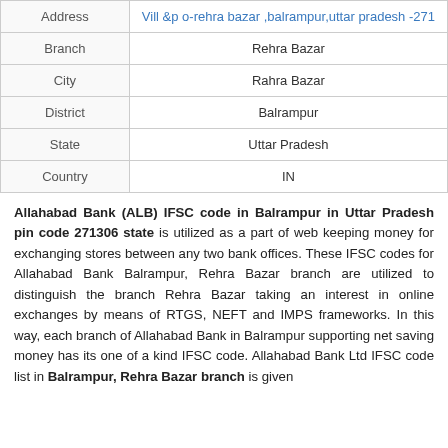|  |  |
| --- | --- |
| Address | Vill &p o-rehra bazar ,balrampur,uttar pradesh -271 |
| Branch | Rehra Bazar |
| City | Rahra Bazar |
| District | Balrampur |
| State | Uttar Pradesh |
| Country | IN |
Allahabad Bank (ALB) IFSC code in Balrampur in Uttar Pradesh pin code 271306 state is utilized as a part of web keeping money for exchanging stores between any two bank offices. These IFSC codes for Allahabad Bank Balrampur, Rehra Bazar branch are utilized to distinguish the branch Rehra Bazar taking an interest in online exchanges by means of RTGS, NEFT and IMPS frameworks. In this way, each branch of Allahabad Bank in Balrampur supporting net saving money has its one of a kind IFSC code. Allahabad Bank Ltd IFSC code list in Balrampur, Rehra Bazar branch is given